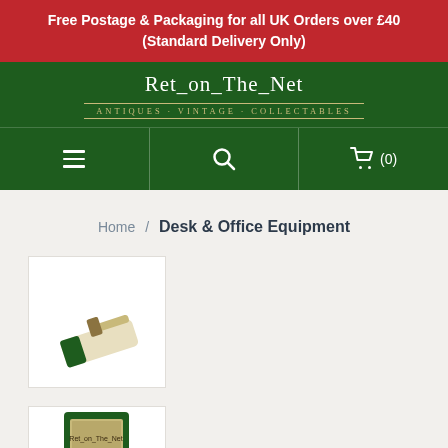Free Postage & Packaging for all UK Orders over £40 (Standard Delivery Only)
[Figure (logo): Ret_on_The_Net logo with tagline Antiques - Vintage - Collectables on dark green background]
[Figure (infographic): Navigation bar with hamburger menu, search icon, and cart icon showing (0)]
Home / Desk & Office Equipment
[Figure (photo): Small product thumbnail of a vintage desk item, appears to be a cream and dark green bookmark or letter opener]
[Figure (photo): Small product thumbnail of a vintage green and gold desk item, partially visible at bottom of page]